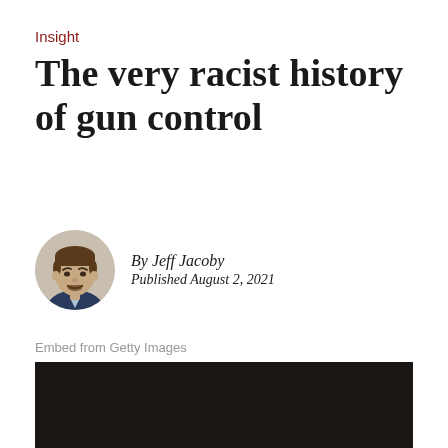Insight
The very racist history of gun control
By Jeff Jacoby
Published August 2, 2021
Embed from Getty Images
[Figure (photo): Dark/black image embed placeholder from Getty Images]